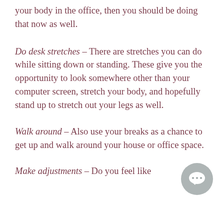your body in the office, then you should be doing that now as well.
Do desk stretches – There are stretches you can do while sitting down or standing. These give you the opportunity to look somewhere other than your computer screen, stretch your body, and hopefully stand up to stretch out your legs as well.
Walk around – Also use your breaks as a chance to get up and walk around your house or office space.
Make adjustments – Do you feel like